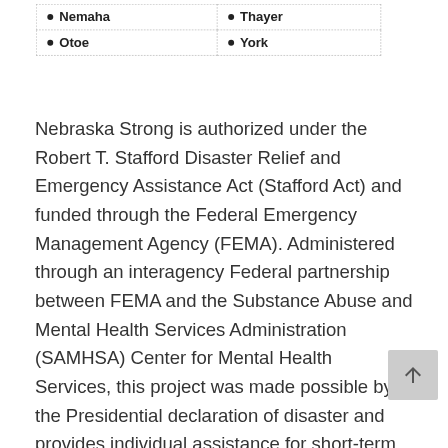| Nemaha | Thayer |
| Otoe | York |
Nebraska Strong is authorized under the Robert T. Stafford Disaster Relief and Emergency Assistance Act (Stafford Act) and funded through the Federal Emergency Management Agency (FEMA). Administered through an interagency Federal partnership between FEMA and the Substance Abuse and Mental Health Services Administration (SAMHSA) Center for Mental Health Services, this project was made possible by the Presidential declaration of disaster and provides individual assistance for short-term behavioral health support, as the disaster response needs are beyond Nebraska's capacity.